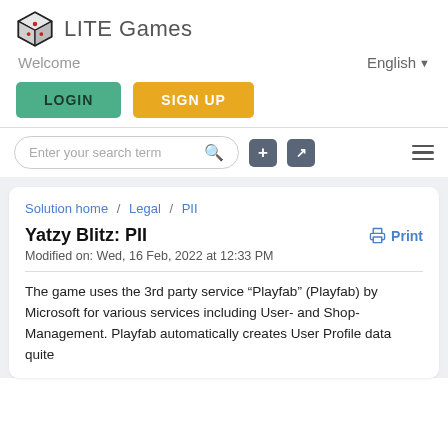LITE Games
Welcome
English
LOGIN
SIGN UP
Enter your search term
Solution home / Legal / PII
Yatzy Blitz: PII
Print
Modified on: Wed, 16 Feb, 2022 at 12:33 PM
The game uses the 3rd party service “Playfab” (Playfab) by Microsoft for various services including User- and Shop-Management. Playfab automatically creates User Profile data quite